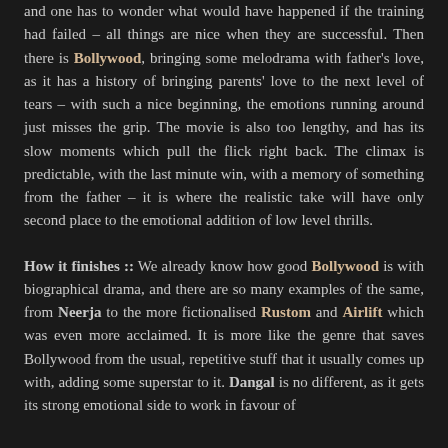and one has to wonder what would have happened if the training had failed – all things are nice when they are successful. Then there is Bollywood, bringing some melodrama with father's love, as it has a history of bringing parents' love to the next level of tears – with such a nice beginning, the emotions running around just misses the grip. The movie is also too lengthy, and has its slow moments which pull the flick right back. The climax is predictable, with the last minute win, with a memory of something from the father – it is where the realistic take will have only second place to the emotional addition of low level thrills.
How it finishes :: We already know how good Bollywood is with biographical drama, and there are so many examples of the same, from Neerja to the more fictionalised Rustom and Airlift which was even more acclaimed. It is more like the genre that saves Bollywood from the usual, repetitive stuff that it usually comes up with, adding some superstar to it. Dangal is no different, as it gets its strong emotional side to work in favour of